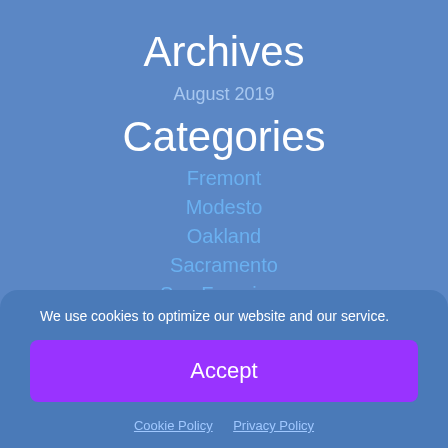Archives
August 2019
Categories
Fremont
Modesto
Oakland
Sacramento
San Francisco
San Jose
We use cookies to optimize our website and our service.
Accept
Cookie Policy  Privacy Policy